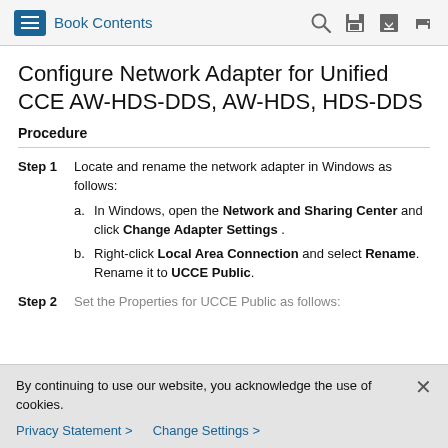Book Contents
Configure Network Adapter for Unified CCE AW-HDS-DDS, AW-HDS, HDS-DDS
Procedure
Step 1 — Locate and rename the network adapter in Windows as follows: a. In Windows, open the Network and Sharing Center and click Change Adapter Settings . b. Right-click Local Area Connection and select Rename. Rename it to UCCE Public.
Step 2 — Set the Properties for UCCE Public as follows:
By continuing to use our website, you acknowledge the use of cookies.
Privacy Statement >   Change Settings >